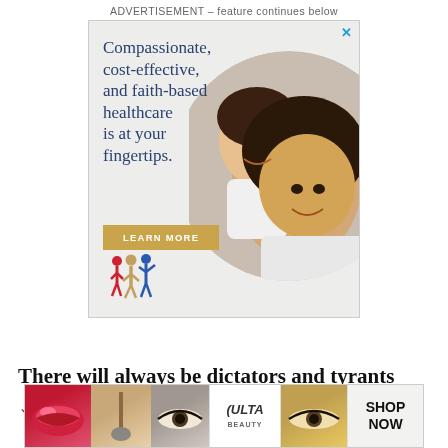ADVERTISEMENT – feature continues below
[Figure (photo): Healthcare advertisement showing a smiling Asian woman and young girl in a circular photo. Ad text reads 'Compassionate, cost-effective, and faith-based healthcare is at your fingertips.' with a 'LEARN MORE' button and a family logo icon.]
There will always be dictators and tyrants
ring for power. So, our first response to
[Figure (photo): ULTA Beauty advertisement banner showing makeup images (lips, brush, eyes) with ULTA logo and 'SHOP NOW' call to action.]